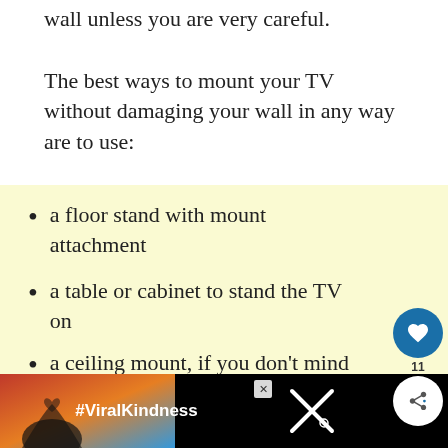wall unless you are very careful.

The best ways to mount your TV without damaging your wall in any way are to use:
a floor stand with mount attachment
a table or cabinet to stand the TV on
a ceiling mount, if you don't mind drilling into the ceiling instead of the wall
[Figure (other): What's Next promotional thumbnail for Best TV Wall Mount Buying guide]
[Figure (other): Advertisement banner with hands forming heart shape and #ViralKindness hashtag on dark background]